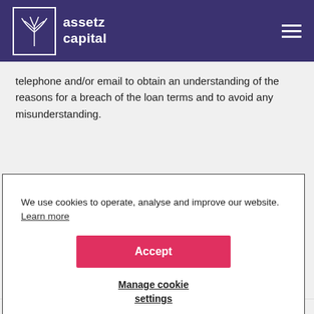assetz capital
telephone and/or email to obtain an understanding of the reasons for a breach of the loan terms and to avoid any misunderstanding.
We use cookies to operate, analyse and improve our website. Learn more
Accept
Manage cookie settings
circumstances known to us.